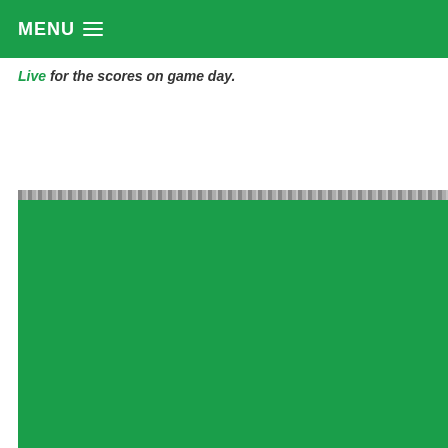MENU
Live for the scores on game day.
[Figure (photo): A large green colored block/image taking up the lower portion of the page, with a dark striped edge at the top suggesting a partially loaded or cropped image.]